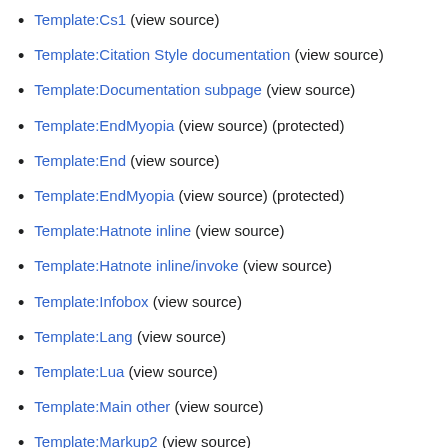Template:Cs1 (view source)
Template:Citation Style documentation (view source)
Template:Documentation subpage (view source)
Template:EndMyopia (view source) (protected)
Template:End (view source)
Template:EndMyopia (view source) (protected)
Template:Hatnote inline (view source)
Template:Hatnote inline/invoke (view source)
Template:Infobox (view source)
Template:Lang (view source)
Template:Lua (view source)
Template:Main other (view source)
Template:Markup2 (view source)